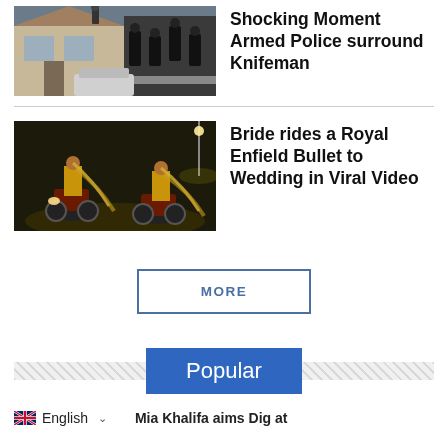[Figure (photo): Photo of armed police surrounding a knifeman outside a suburban house]
Shocking Moment Armed Police surround Knifeman
[Figure (photo): Bride in traditional Indian attire riding a Royal Enfield Bullet motorcycle at night]
Bride rides a Royal Enfield Bullet to Wedding in Viral Video
MORE
Popular
English
Mia Khalifa aims Dig at